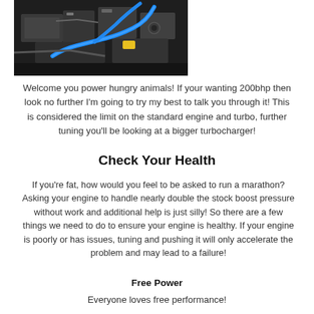[Figure (photo): Photograph of a car engine bay showing various components including blue hoses/pipes and mechanical parts]
Welcome you power hungry animals! If your wanting 200bhp then look no further I'm going to try my best to talk you through it! This is considered the limit on the standard engine and turbo, further tuning you'll be looking at a bigger turbocharger!
Check Your Health
If you're fat, how would you feel to be asked to run a marathon? Asking your engine to handle nearly double the stock boost pressure without work and additional help is just silly! So there are a few things we need to do to ensure your engine is healthy. If your engine is poorly or has issues, tuning and pushing it will only accelerate the problem and may lead to a failure!
Free Power
Everyone loves free performance!